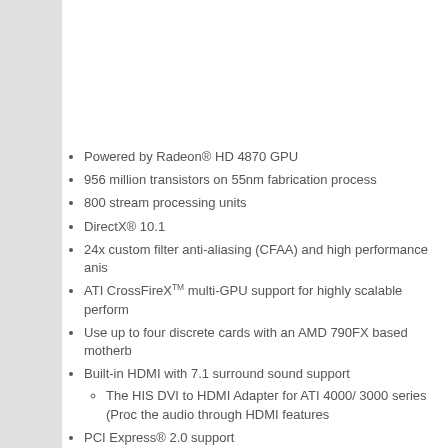Powered by Radeon® HD 4870 GPU
956 million transistors on 55nm fabrication process
800 stream processing units
DirectX® 10.1
24x custom filter anti-aliasing (CFAA) and high performance anis
ATI CrossFireXTM multi-GPU support for highly scalable perform
Use up to four discrete cards with an AMD 790FX based motherb
Built-in HDMI with 7.1 surround sound support
The HIS DVI to HDMI Adapter for ATI 4000/ 3000 series (Proc the audio through HDMI features
PCI Express® 2.0 support
HIS PRODUCTS ADVANTAGE
HIS delivers Faster, Cooler, Quieter plus the best quality product
Professional customer service and technical support
ACCESSORIES